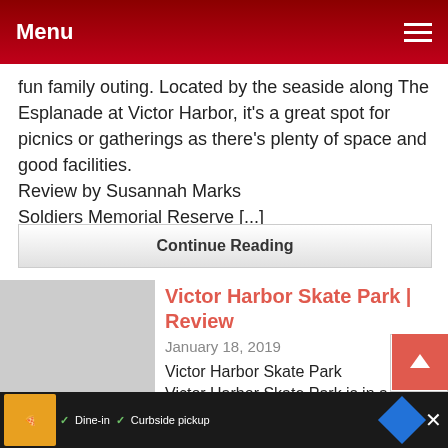Menu
fun family outing. Located by the seaside along The Esplanade at Victor Harbor, it's a great spot for picnics or gatherings as there's plenty of space and good facilities.
Review by Susannah Marks
Soldiers Memorial Reserve [...]
Continue Reading
Victor Harbor Skate Park | Review
January 18, 2019
Victor Harbor Skate Park
Victor Harbor Skate Park is in a great location just next to th